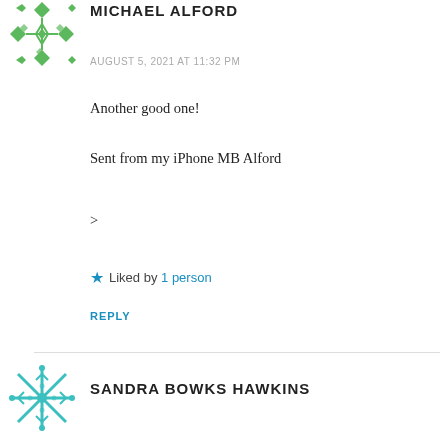[Figure (illustration): Green geometric/tribal pattern avatar icon for Michael Alford]
MICHAEL ALFORD
AUGUST 5, 2021 AT 11:32 PM
Another good one!
Sent from my iPhone MB Alford
>
★ Liked by 1 person
REPLY
[Figure (illustration): Teal/cyan snowflake avatar icon for Sandra Bowks Hawkins]
SANDRA BOWKS HAWKINS